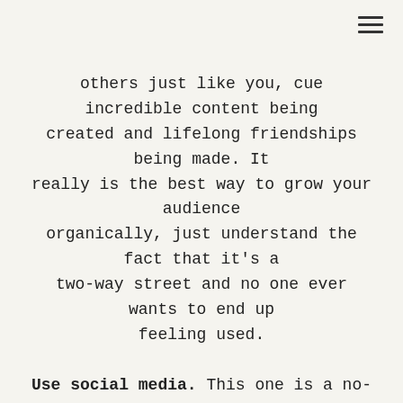others just like you, cue incredible content being created and lifelong friendships being made. It really is the best way to grow your audience organically, just understand the fact that it's a two-way street and no one ever wants to end up feeling used.
Use social media. This one is a no-brainer but I'm putting it up anyway, it's free marketing, people! It provides you with another (totally free) channel to share your voice and connect with your audience. Don't worry about doing them all, pick the channels that you think best suit you and